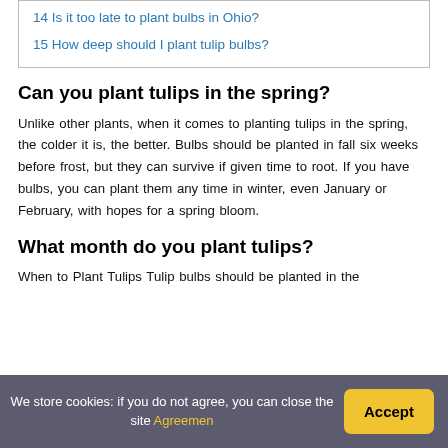14 Is it too late to plant bulbs in Ohio?
15 How deep should I plant tulip bulbs?
Can you plant tulips in the spring?
Unlike other plants, when it comes to planting tulips in the spring, the colder it is, the better. Bulbs should be planted in fall six weeks before frost, but they can survive if given time to root. If you have bulbs, you can plant them any time in winter, even January or February, with hopes for a spring bloom.
What month do you plant tulips?
When to Plant Tulips Tulip bulbs should be planted in the
We store cookies: if you do not agree, you can close the site Agreemen
Accept